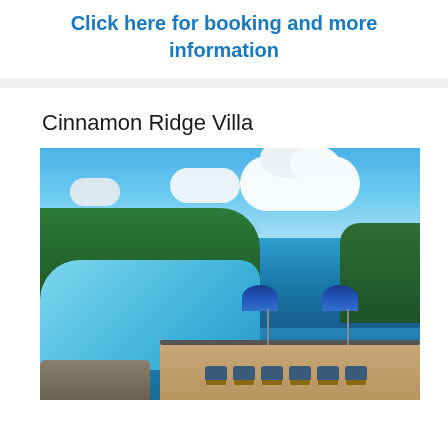Click here for booking and more information
Cinnamon Ridge Villa
[Figure (photo): Outdoor swimming pool with lounge chairs and blue striped umbrellas on a wooden deck, surrounded by tropical greenery with a turquoise ocean view in the background under a bright blue cloudy sky.]